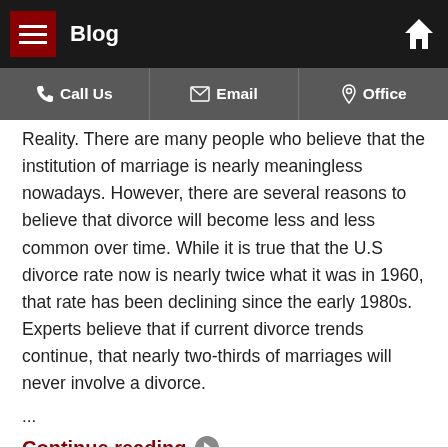Blog
Call Us | Email | Office
Reality. There are many people who believe that the institution of marriage is nearly meaningless nowadays. However, there are several reasons to believe that divorce will become less and less common over time. While it is true that the U.S divorce rate now is nearly twice what it was in 1960, that rate has been declining since the early 1980s. Experts believe that if current divorce trends continue, that nearly two-thirds of marriages will never involve a divorce.
...
Continue reading